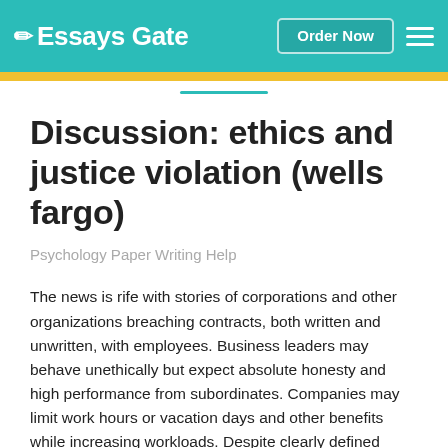Essays Gate — Order Now
Discussion: ethics and justice violation (wells fargo)
Psychology Paper Writing Help
The news is rife with stories of corporations and other organizations breaching contracts, both written and unwritten, with employees. Business leaders may behave unethically but expect absolute honesty and high performance from subordinates. Companies may limit work hours or vacation days and other benefits while increasing workloads. Despite clearly defined ethical codes, guidelines, and mission statements that